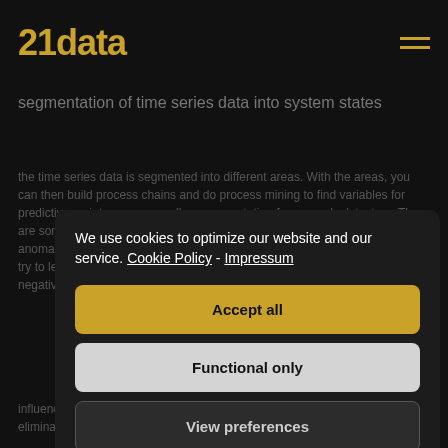21data
segmentation of time series data into system states
the time series data is segmented into different areas. With the areas, you can then build process chains and do process mining to find variables for predictive maintenance as well as segmentation for anomaly detectors. There are some companies around which claim to have very clever "secret sauce" anomaly detection, mostly for unplanned downtime. But these algorithms will try to learn also things that happen during a downtime, and that can very negatively influence the learning of other areas. Time series segmentation can help to eliminate data points
We use cookies to optimize our website and our service. Cookie Policy - Impressum
Accept all
Functional only
View preferences